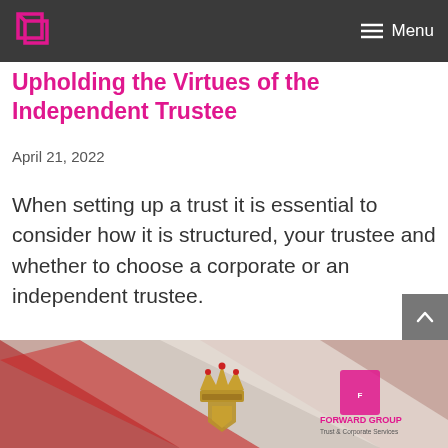Menu
Upholding the Virtues of the Independent Trustee
April 21, 2022
When setting up a trust it is essential to consider how it is structured, your trustee and whether to choose a corporate or an independent trustee.
[Figure (photo): Bottom banner image showing a flag or decorative fabric in red/gold tones with a crown/crest emblem, and Forward Group Trust & Corporate Services logo watermark in the bottom right corner.]